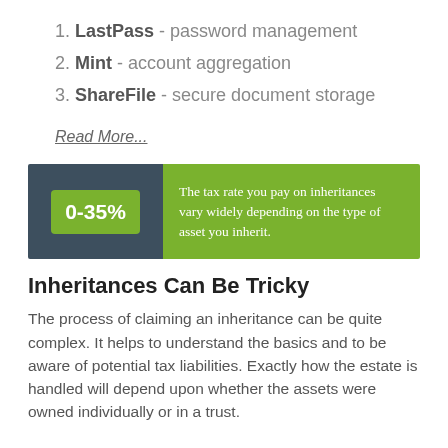1. LastPass - password management
2. Mint - account aggregation
3. ShareFile - secure document storage
Read More...
[Figure (infographic): Green and dark blue infographic banner. Left side: dark blue background with green badge displaying '0-35%'. Right side: green background with white serif text reading 'The tax rate you pay on inheritances vary widely depending on the type of asset you inherit.']
Inheritances Can Be Tricky
The process of claiming an inheritance can be quite complex. It helps to understand the basics and to be aware of potential tax liabilities. Exactly how the estate is handled will depend upon whether the assets were owned individually or in a trust.